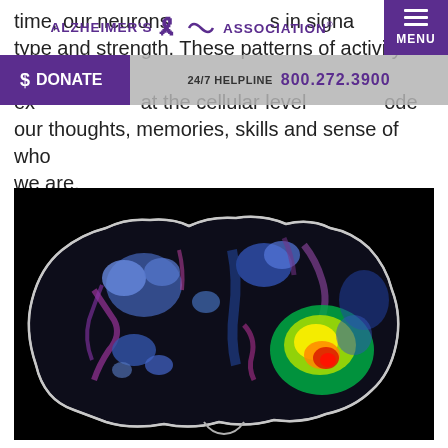time, our neurons s in signal type and strength. These patterns of activity
ALZHEIMER'S ASSOCIATION® | MENU
$ DONATE | 24/7 HELPLINE 800.272.3900
express at the cellular level, our brains code our thoughts, memories, skills and sense of who we are.
[Figure (photo): Brain scan (likely PET scan) showing a lateral view of a brain outline on black background with false-color activity mapping — predominantly blue and purple regions with a bright hot-spot area (yellow, green, red) on the lower right portion of the brain image.]